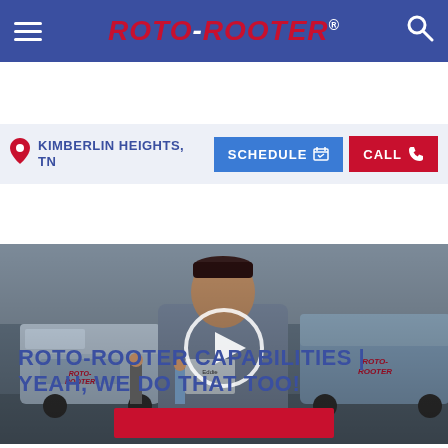ROTO-ROOTER® — Navigation header with hamburger menu and search icon
KIMBERLIN HEIGHTS, TN — SCHEDULE — CALL
[Figure (screenshot): Video thumbnail showing a Roto-Rooter technician in uniform standing in front of Roto-Rooter branded service vans in a garage, with a circular play button overlay in the center.]
ROTO-ROOTER CAPABILITIES | YEAH, WE DO THAT TOO!